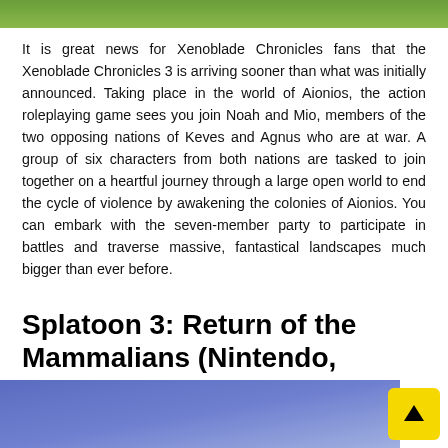[Figure (photo): Top image strip showing green/nature scene from Xenoblade Chronicles]
It is great news for Xenoblade Chronicles fans that the Xenoblade Chronicles 3 is arriving sooner than what was initially announced. Taking place in the world of Aionios, the action roleplaying game sees you join Noah and Mio, members of the two opposing nations of Keves and Agnus who are at war. A group of six characters from both nations are tasked to join together on a heartful journey through a large open world to end the cycle of violence by awakening the colonies of Aionios. You can embark with the seven-member party to participate in battles and traverse massive, fantastical landscapes much bigger than ever before.
Splatoon 3: Return of the Mammalians (Nintendo, September 9, 2022)
[Figure (photo): Bottom image strip showing Splatoon 3 scene with blue/purple tones and game controller]